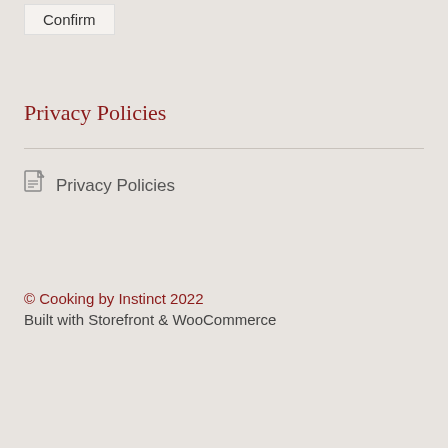Confirm
Privacy Policies
Privacy Policies
© Cooking by Instinct 2022
Built with Storefront & WooCommerce